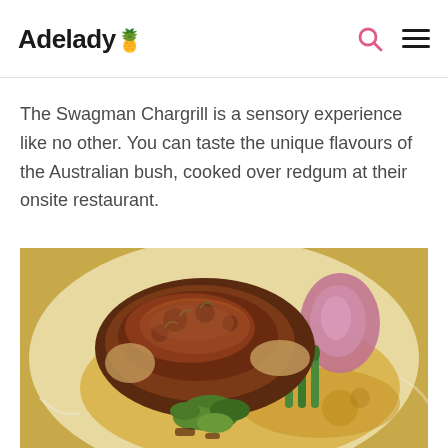Adelady
The Swagman Chargrill is a sensory experience like no other. You can taste the unique flavours of the Australian bush, cooked over redgum at their onsite restaurant.
[Figure (photo): A plated dish from Swagman Chargrill showing a chargrilled meat piece with asparagus, pickled red onion, green leaves, and golden sauce on a white plate.]